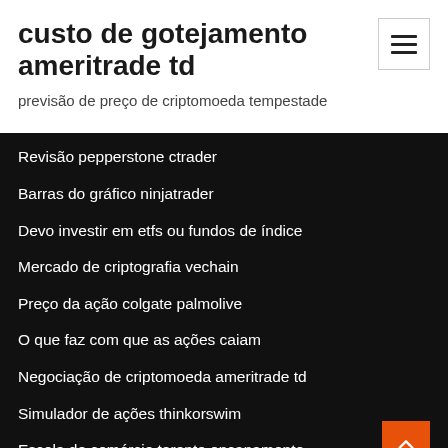custo de gotejamento ameritrade td
previsão de preço de criptomoeda tempestade
Revisão pepperstone ctrader
Barras do gráfico ninjatrader
Devo investir em etfs ou fundos de índice
Mercado de criptografia vechain
Preço da ação colgate palmolive
O que faz com que as ações caiam
Negociação de criptomoeda ameritrade td
Simulador de ações thinkorswim
Escola de comércio toronto encanamento